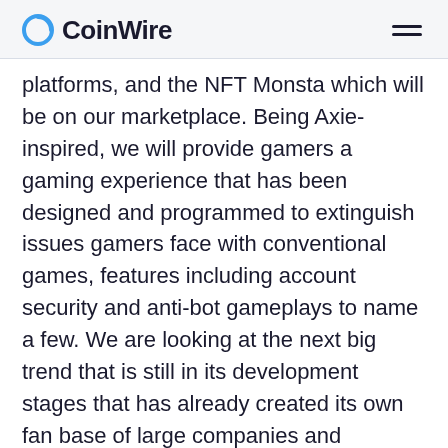CoinWire
platforms, and the NFT Monsta which will be on our marketplace. Being Axie-inspired, we will provide gamers a gaming experience that has been designed and programmed to extinguish issues gamers face with conventional games, features including account security and anti-bot gameplays to name a few. We are looking at the next big trend that is still in its development stages that has already created its own fan base of large companies and communities all around the world all waiting to get into the next craze in the crypto world.